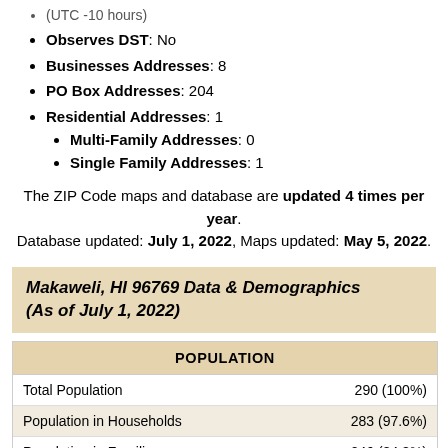(UTC -10 hours)
Observes DST: No
Businesses Addresses: 8
PO Box Addresses: 204
Residential Addresses: 1
Multi-Family Addresses: 0
Single Family Addresses: 1
The ZIP Code maps and database are updated 4 times per year. Database updated: July 1, 2022, Maps updated: May 5, 2022.
Makaweli, HI 96769 Data & Demographics (As of July 1, 2022)
| POPULATION |  |
| --- | --- |
| Total Population | 290 (100%) |
| Population in Households | 283 (97.6%) |
| Population in Families | 246 (84.8%) |